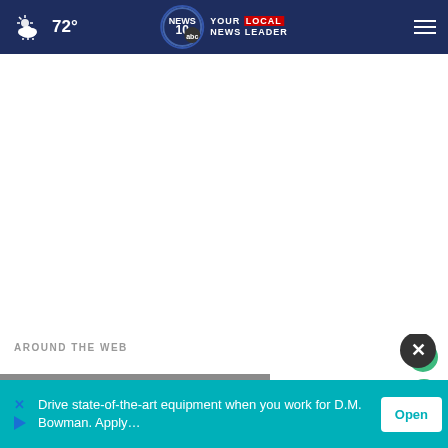72° — NEWS 10 YOUR LOCAL NEWS LEADER
AROUND THE WEB
[Figure (screenshot): Partial image strip at bottom of page showing person's face, partially cropped]
Drive state-of-the-art equipment when you work for D.M. Bowman. Apply…
Open